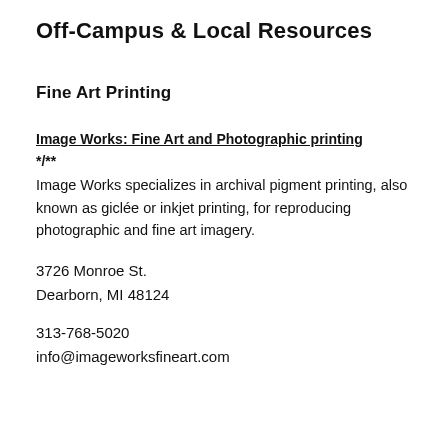Off-Campus & Local Resources
Fine Art Printing
Image Works: Fine Art and Photographic printing */**
Image Works specializes in archival pigment printing, also known as giclée or inkjet printing, for reproducing photographic and fine art imagery.
3726 Monroe St.
Dearborn, MI 48124
313-768-5020
info@imageworksfineart.com